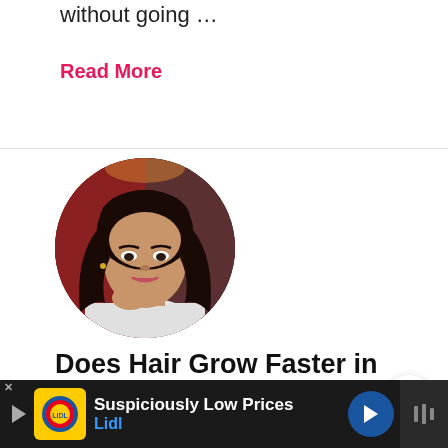without going …
Read More
[Figure (photo): Circular cropped portrait photo of a young woman with long dark hair, wearing a white knit sweater, posed with hand near chin, with a dark red/maroon background]
Does Hair Grow Faster in the Winter [Ask The Expert]
[Figure (infographic): Advertisement banner: Lidl store ad with yellow logo box, text 'Suspiciously Low Prices' in white and 'Lidl' in blue, blue navigation arrow icon, on dark background]